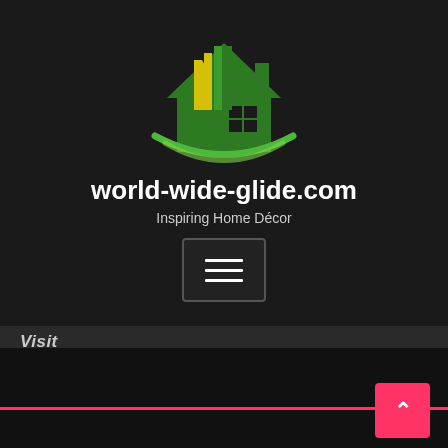[Figure (logo): World-wide-glide.com logo: a green house silhouette with yellow and green vertical bars inside, and a green swoosh/arc underneath, on a dark background]
world-wide-glide.com
Inspiring Home Décor
[Figure (other): Hamburger menu button: three horizontal white lines inside a dark rounded rectangle with a grey border]
Visit
Home Styles